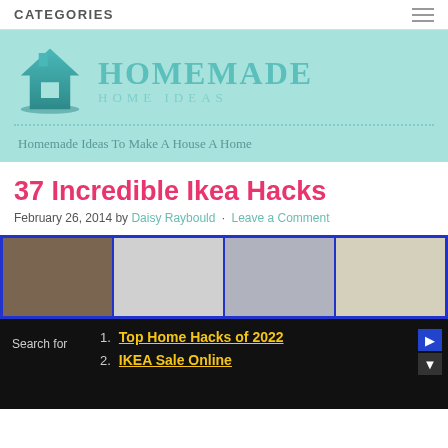CATEGORIES
[Figure (logo): Homemade Home Ideas logo with house icon and teal text on light teal background, tagline: Homemade Ideas To Make A House A Home]
37 Incredible Ikea Hacks
February 26, 2014 by Daisy Raybould · Leave a Comment
[Figure (photo): Strip of four home interior photos behind a blue border]
1. Top Home Hacks of 2022
2. IKEA Sale Online
Search for